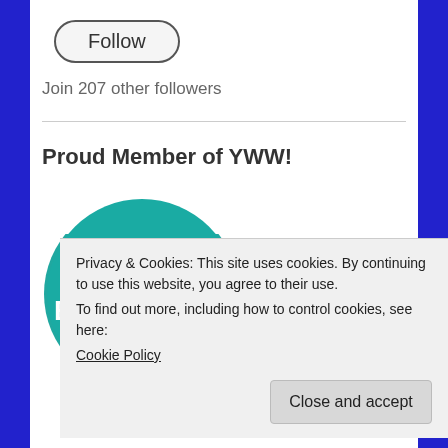[Figure (other): Follow button — rounded pill-shaped button with text 'Follow' and dark border]
Join 207 other followers
Proud Member of YWW!
[Figure (logo): YWW Blogger's badge — teal circular badge with YWW logo icon and text 'BLOGGER'S' in white]
Privacy & Cookies: This site uses cookies. By continuing to use this website, you agree to their use.
To find out more, including how to control cookies, see here:
Cookie Policy
Close and accept